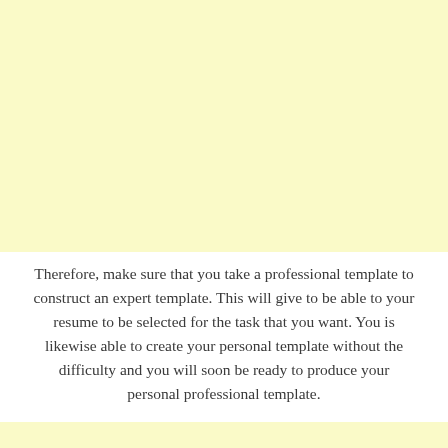[Figure (other): Large light yellow background area occupying the top portion of the page]
Therefore, make sure that you take a professional template to construct an expert template. This will give to be able to your resume to be selected for the task that you want. You is likewise able to create your personal template without the difficulty and you will soon be ready to produce your personal professional template.